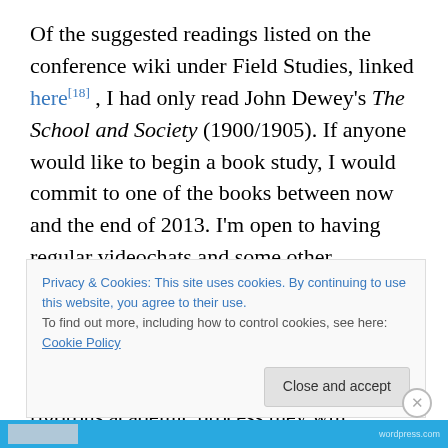Of the suggested readings listed on the conference wiki under Field Studies, linked here[18] , I had only read John Dewey's The School and Society (1900/1905). If anyone would like to begin a book study, I would commit to one of the books between now and the end of 2013. I'm open to having regular videochats and some other asynchronous methods to tracking the dialog. I hope I can jump in and out of the faculty seminars with The Bridge Year, but I'm not sure I can commit to the extensively rigorous academic process they will undergo. The literature
Privacy & Cookies: This site uses cookies. By continuing to use this website, you agree to their use.
To find out more, including how to control cookies, see here: Cookie Policy
Close and accept